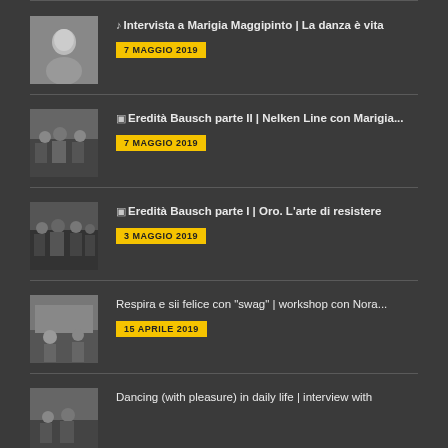♪ Intervista a Marigia Maggipinto | La danza è vita — 7 MAGGIO 2019
⊞ Eredità Bausch parte II | Nelken Line con Marigia... — 7 MAGGIO 2019
⊞ Eredità Bausch parte I | Oro. L'arte di resistere — 3 MAGGIO 2019
Respira e sii felice con "swag" | workshop con Nora... — 15 APRILE 2019
Dancing (with pleasure) in daily life | interview with